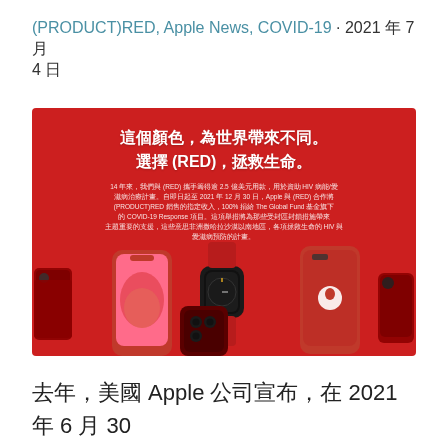(PRODUCT)RED, Apple News, COVID-19 · 2021 年 7 月 4 日
[Figure (photo): Red banner advertisement for Apple (PRODUCT)RED campaign showing Apple devices (iPhone 12, Apple Watch, iPhone case, iPhone Pro) in red color on a red background. Text reads: 這個顏色，為世界帶來不同。選擇 (RED)，拯救生命。 with body text about 14 years of partnership raising 2.5 billion USD and COVID-19 Response fund details.]
去年，美國 Apple 公司宣布，在 2021 年 6 月 30 日起，將原本限定於